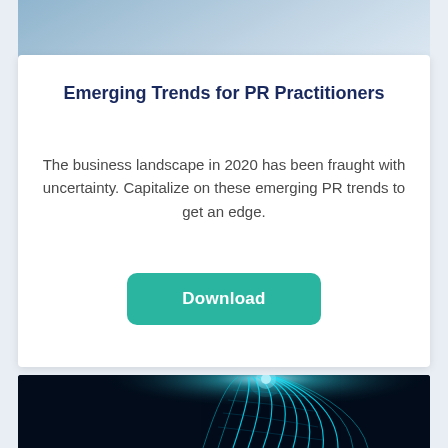[Figure (photo): Top portion of a photo showing a person in a blue sweater working on a laptop, cropped at the shoulders]
Emerging Trends for PR Practitioners
The business landscape in 2020 has been fraught with uncertainty. Capitalize on these emerging PR trends to get an edge.
Download
[Figure (photo): Dark background photo showing glowing blue light streaks forming a curved grid or wave pattern, suggesting speed or digital connectivity]